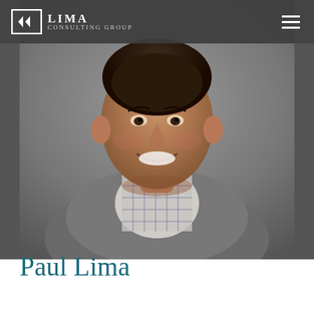LIMA CONSULTING GROUP
[Figure (photo): Professional headshot of Paul Lima, a man in a grey blazer and plaid shirt, smiling, against a grey studio background]
Paul Lima